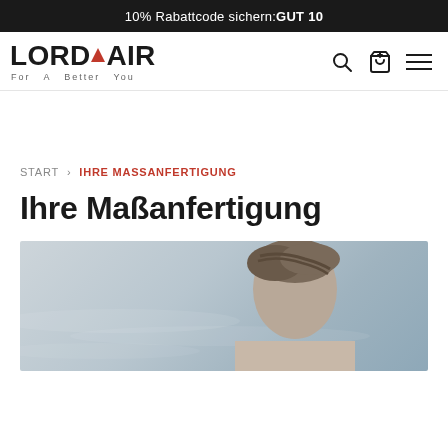10% Rabattcode sichern:GUT 10
[Figure (logo): LORDHAIR logo with red triangle between H and A letters, tagline 'For A Better You']
START > IHRE MASSANFERTIGUNG
Ihre Maßanfertigung
[Figure (photo): Man with styled hair seen from behind/side against blurred water background]